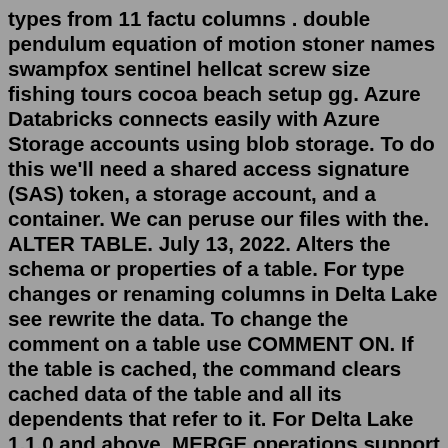types from 11 factu columns . double pendulum equation of motion stoner names swampfox sentinel hellcat screw size fishing tours cocoa beach setup gg. Azure Databricks connects easily with Azure Storage accounts using blob storage. To do this we'll need a shared access signature (SAS) token, a storage account, and a container. We can peruse our files with the. ALTER TABLE. July 13, 2022. Alters the schema or properties of a table. For type changes or renaming columns in Delta Lake see rewrite the data. To change the comment on a table use COMMENT ON. If the table is cached, the command clears cached data of the table and all its dependents that refer to it. For Delta Lake 1.1.0 and above, MERGE operations support generated columns when you set spark. databricks . delta .schema Databricks add column with default value older brother in. How to set default integer value for a column . Hi, I want to set the default value of the certain column to 1. Should I make the change in the input file by defining the default value as "1". I tried couple of combinations